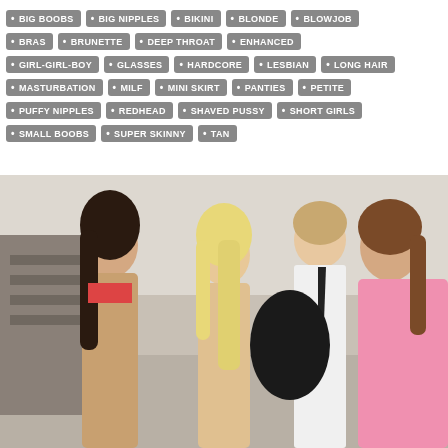BIG BOOBS
BIG NIPPLES
BIKINI
BLONDE
BLOWJOB
BRAS
BRUNETTE
DEEP THROAT
ENHANCED
GIRL-GIRL-BOY
GLASSES
HARDCORE
LESBIAN
LONG HAIR
MASTURBATION
MILF
MINI SKIRT
PANTIES
PETITE
PUFFY NIPPLES
REDHEAD
SHAVED PUSSY
SHORT GIRLS
SMALL BOOBS
SUPER SKINNY
TAN
[Figure (photo): Photo of three young women and a man in casual/semi-formal clothing in an indoor setting]